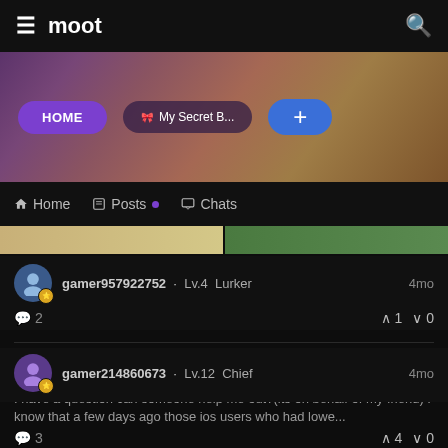moot
[Figure (screenshot): Banner with HOME, My Secret B, and + buttons over blurred anime background]
Home  Posts  Chats
gamer957922752 · Lv.4 Lurker   4mo  💬 2   ↑ 1  ↓ 0
Need help regarding ios!!! Please🙏
I have a question can someone help me out?(its on behalf of my friend) I know that a few days ago those ios users who had lowe...
gamer214860673 · Lv.12 Chief   4mo  💬 3   ↑ 4  ↓ 0